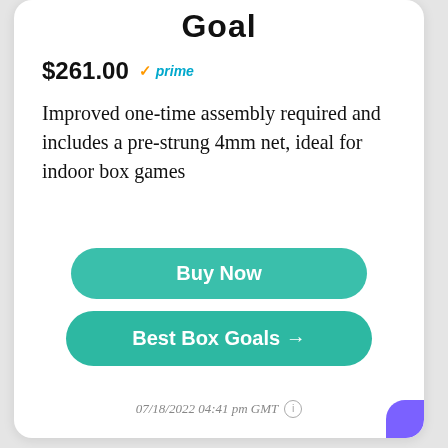Goal
$261.00 ✓prime
Improved one-time assembly required and includes a pre-strung 4mm net, ideal for indoor box games
Buy Now
Best Box Goals →
07/18/2022 04:41 pm GMT ⓘ